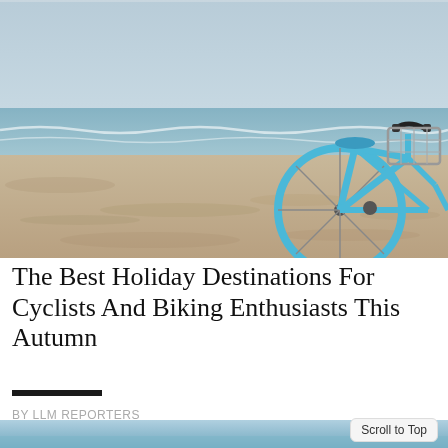[Figure (photo): A light blue beach cruiser bicycle with a wire basket parked on a sandy beach. The background shows the ocean with small waves and a pale blue-grey sky. Sandy, pebbly beach in the foreground.]
The Best Holiday Destinations For Cyclists And Biking Enthusiasts This Autumn
BY LLM REPORTERS
[Figure (photo): Bottom strip of a beach/ocean photo, showing blue sky and water at the horizon.]